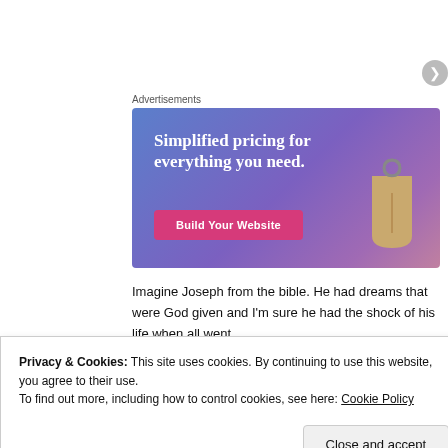Advertisements
[Figure (illustration): Advertisement banner with gradient blue-purple background, text 'Simplified pricing for everything you need.', a pink 'Build Your Website' button, and a price tag image on the right.]
Imagine Joseph from the bible. He had dreams that were God given and I'm sure he had the shock of his life when all went
Privacy & Cookies: This site uses cookies. By continuing to use this website, you agree to their use.
To find out more, including how to control cookies, see here: Cookie Policy
[Close and accept]